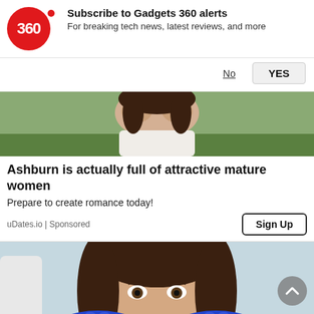[Figure (screenshot): Gadgets 360 subscription notification bar with red circle logo showing '360', a red dot beside it, bold text 'Subscribe to Gadgets 360 alerts', subtitle 'For breaking tech news, latest reviews, and more', a 'No' text link with underline, and a 'YES' button]
[Figure (photo): Photo of a woman outdoors covering her face with her hands, wearing a white shirt, with green grass in the background]
Ashburn is actually full of attractive mature women
Prepare to create romance today!
uDates.io | Sponsored
[Figure (photo): Photo of a smiling young woman at a dental appointment with blue-gloved hands examining her teeth, light blue background]